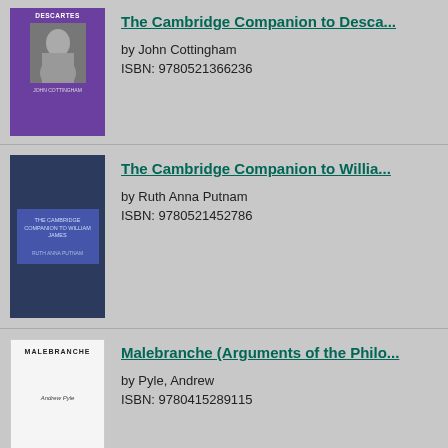[Figure (illustration): Book cover of The Cambridge Companion to Descartes, purple background with portrait]
The Cambridge Companion to Descartes
by John Cottingham
ISBN: 9780521366236
[Figure (illustration): Book cover of The Cambridge Companion to William James, dark blue background]
The Cambridge Companion to William
by Ruth Anna Putnam
ISBN: 9780521452786
[Figure (illustration): Book cover of Malebranche (Arguments of the Philosophers), white cover]
Malebranche (Arguments of the Philo
by Pyle, Andrew
ISBN: 9780415289115